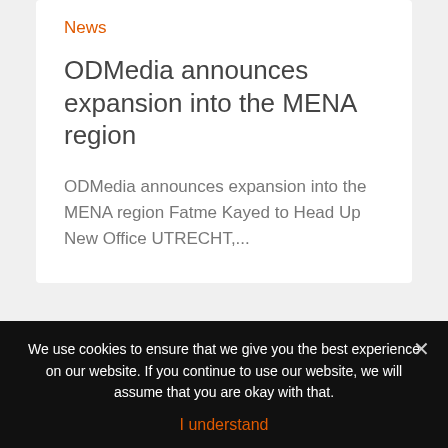News
ODMedia announces expansion into the MENA region
ODMedia announces expansion into the MENA region Fatme Kayed to Head Up New Office UTRECHT,...
[Figure (illustration): Partial view of a card with an orange angled block and a crowned lion logo (orange and blue)]
We use cookies to ensure that we give you the best experience on our website. If you continue to use our website, we will assume that you are okay with that.
I understand